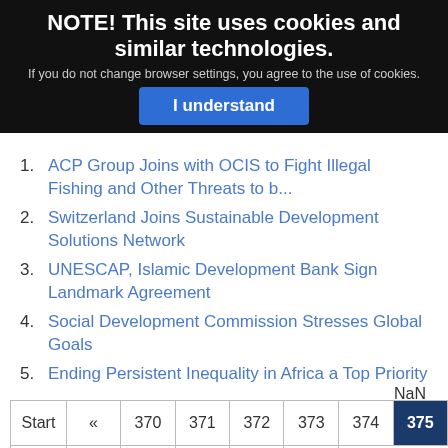NOTE! This site uses cookies and similar technologies. If you do not change browser settings, you agree to the use of cookies. I understand
1. ACP Group Joins with OCIS to Fight Illegal Fishing and Other Threats to b...
2. Switzerland Joins Sustainable Development Solutions Network
3. UNESCAP, Islamic Development Bank Sign Landmark Agreement
4. Social Development Commission Stresses Global Goals
5. Ending Persistent Inequality in Africa a Top Priority
NaN
| Start | « | 370 | 371 | 372 | 373 | 374 | 375 | 376 | 377 | 378 | 379 | » | End |
| --- | --- | --- | --- | --- | --- | --- | --- | --- | --- | --- | --- | --- | --- |
| Start | « | 370 | 371 | 372 | 373 | 374 | 375 |
| 376 | 377 | 378 | 379 | » | End |  |  |